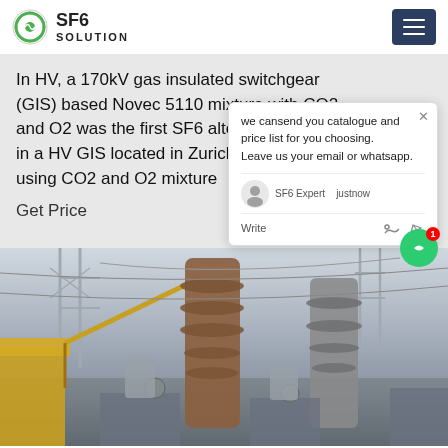SF6 SOLUTION
In HV, a 170kV gas insulated switchgear (GIS) based Novec 5110 mixture with CO2 and O2 was the first SF6 alternative installed in a HV GIS located in Zurich in 2015. GIS using CO2 and O2 mixture
Get Price
we cansend you catalogue and price list for you choosing.
Leave us your email or whatsapp.
SF6 Expert  justnow
Write
[Figure (photo): Outdoor high voltage electrical substation with large equipment, insulators, and crane vehicle visible]